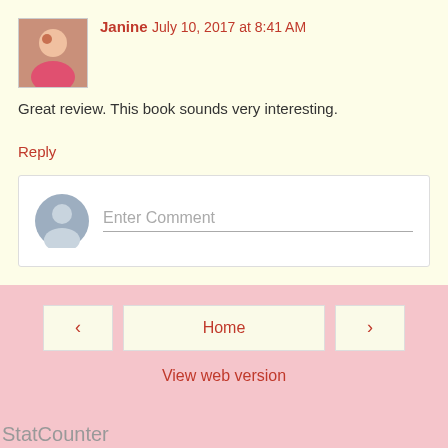Janine  July 10, 2017 at 8:41 AM
Great review. This book sounds very interesting.
Reply
Enter Comment
Home
View web version
StatCounter